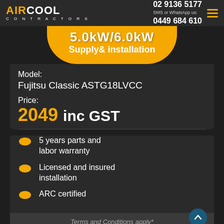AIR COOL CONTRACTORS | 02 9136 5177 | SMS or WhatsApp us: 0449 684 610
5.0kW/6.0kW Supply & installation
Model: Fujitsu Classic ASTG18LVCC
Price: 2049 inc GST
5 years parts and labor warranty
Licensed and insured installation
ARC certified
Terms and Conditions apply*